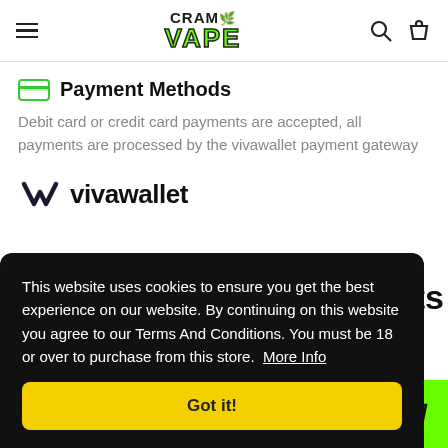CramVape - site header with hamburger menu, logo, search and bag icons
Payment Methods
Debit card or credit card payments are accepted, all payments are processed by the vivawallet payment gateway
[Figure (logo): Vivawallet logo with V checkmark symbol and text 'vivawallet']
This website uses cookies to ensure you get the best experience on our website. By continuing on this website you agree to our Terms And Conditions. You must be 18 or over to purchase from this store. More Info
Got it!